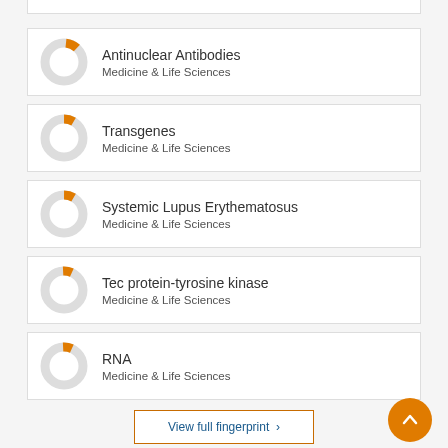Antinuclear Antibodies
Medicine & Life Sciences
Transgenes
Medicine & Life Sciences
Systemic Lupus Erythematosus
Medicine & Life Sciences
Tec protein-tyrosine kinase
Medicine & Life Sciences
RNA
Medicine & Life Sciences
View full fingerprint >